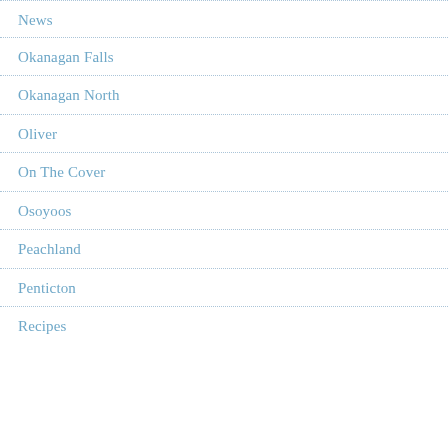News
Okanagan Falls
Okanagan North
Oliver
On The Cover
Osoyoos
Peachland
Penticton
Recipes